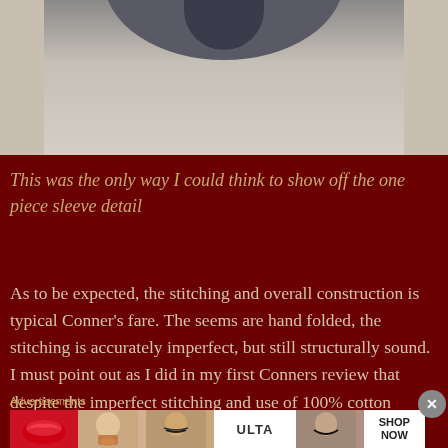[Figure (photo): Close-up photo of a dark navy/charcoal garment sleeve or collar detail on a light grey background]
This was the only way I could think to show off the one piece sleeve detail
As to be expected, the stitching and overall construction is typical Conner's fare. The seems are hand folded, the stitching is accurately imperfect, but still structurally sound. I must point out as I did in my first Conners review that despite the imperfect stitching and use of 100% cotton stitching, myself and the other
Advertisements
[Figure (photo): Ulta Beauty advertisement banner showing makeup photos and SHOP NOW call to action]